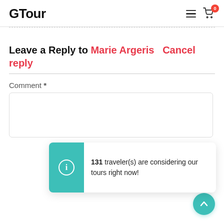GTour
Leave a Reply to Marie Argeris   Cancel reply
Comment *
[Figure (infographic): Notification popup with teal icon panel and info icon, showing '131 traveler(s) are considering our tours right now!']